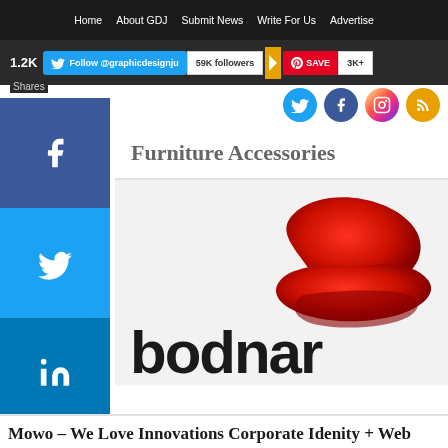Home  About GDJ  Submit News  Write For Us  Advertise
[Figure (screenshot): Social media follow bar with Twitter follow button showing @graphicdesignju, 59K followers badge, divider, Pinterest SAVE and 3K+ badge]
[Figure (screenshot): Side social share buttons: Facebook, Twitter, LinkedIn, Pinterest, and plus button]
[Figure (screenshot): Right side social icons: Twitter, Facebook, Instagram, RSS]
Furniture Accessories
[Figure (photo): Bodnar branding image showing a red modern chair/sofa silhouette at top right and large bold text 'bodnar' at the bottom left, on a light background]
Mowo – We Love Innovations Corporate Idenity + Web